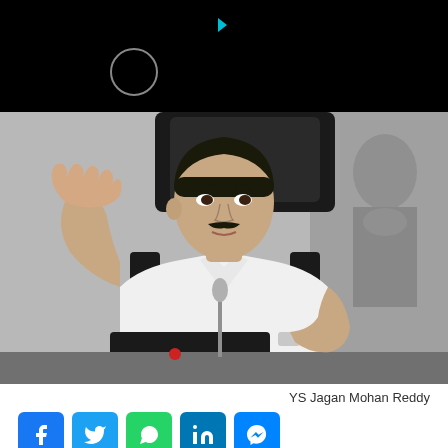[Figure (photo): Black bar at top with a circular outline icon and a small cyan triangle/play icon, overlaid on a dark background]
[Figure (photo): Photograph of YS Jagan Mohan Reddy seated at a desk in a white shirt, raising his right hand with palm open, with a microphone in front of him and a Buddha statue sculpture in the background]
YS Jagan Mohan Reddy
[Figure (infographic): Social media share buttons: Facebook (blue f), Twitter (cyan bird), WhatsApp (green phone), LinkedIn (blue in), Messenger (blue lightning bolt)]